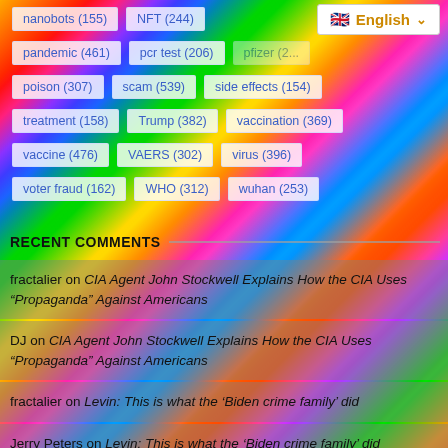nanobots (155)
NFT (244)
pandemic (461)
pcr test (206)
poison (307)
scam (539)
side effects (154)
treatment (158)
Trump (382)
vaccination (369)
vaccine (476)
VAERS (302)
virus (396)
voter fraud (162)
WHO (312)
wuhan (253)
RECENT COMMENTS
fractalier on CIA Agent John Stockwell Explains How the CIA Uses “Propaganda” Against Americans
DJ on CIA Agent John Stockwell Explains How the CIA Uses “Propaganda” Against Americans
fractalier on Levin: This is what the ‘Biden crime family’ did
Jerry Peters on Levin: This is what the ‘Biden crime family’ did